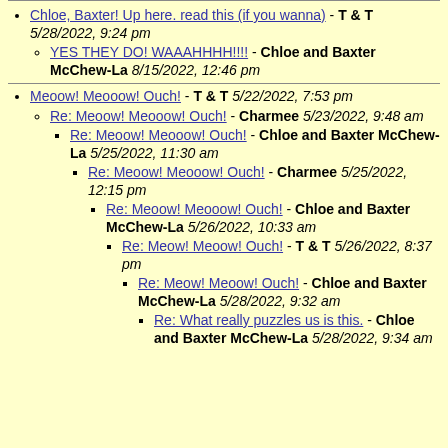Chloe, Baxter! Up here. read this (if you wanna) - T & T 5/28/2022, 9:24 pm
YES THEY DO! WAAAHHHH!!!! - Chloe and Baxter McChew-La 8/15/2022, 12:46 pm
Meoow! Meooow! Ouch! - T & T 5/22/2022, 7:53 pm
Re: Meoow! Meooow! Ouch! - Charmee 5/23/2022, 9:48 am
Re: Meoow! Meooow! Ouch! - Chloe and Baxter McChew-La 5/25/2022, 11:30 am
Re: Meoow! Meooow! Ouch! - Charmee 5/25/2022, 12:15 pm
Re: Meoow! Meooow! Ouch! - Chloe and Baxter McChew-La 5/26/2022, 10:33 am
Re: Meow! Meoow! Ouch! - T & T 5/26/2022, 8:37 pm
Re: Meow! Meoow! Ouch! - Chloe and Baxter McChew-La 5/28/2022, 9:32 am
Re: What really puzzles us is this. - Chloe and Baxter McChew-La 5/28/2022, 9:34 am